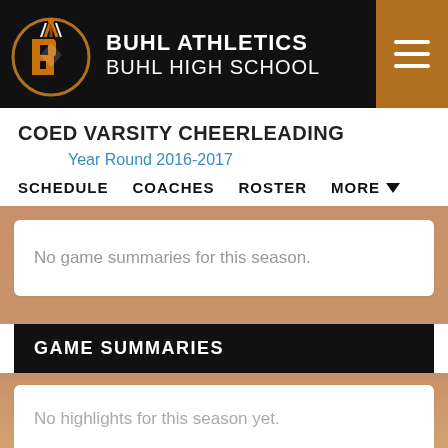BUHL ATHLETICS BUHL HIGH SCHOOL
COED VARSITY CHEERLEADING
Year Round 2016-2017
SCHEDULE   COACHES   ROSTER   MORE ▼
No game summaries for this season.
GAME SUMMARIES
No highlights for this season yet.